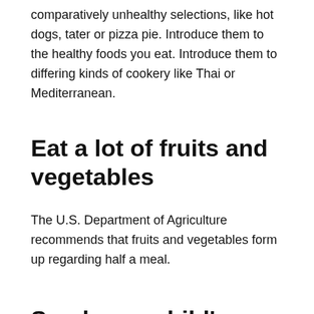comparatively unhealthy selections, like hot dogs, tater or pizza pie. Introduce them to the healthy foods you eat. Introduce them to differing kinds of cookery like Thai or Mediterranean.
Eat a lot of fruits and vegetables
The U.S. Department of Agriculture recommends that fruits and vegetables form up regarding half a meal.
Send your child's lunch to high school